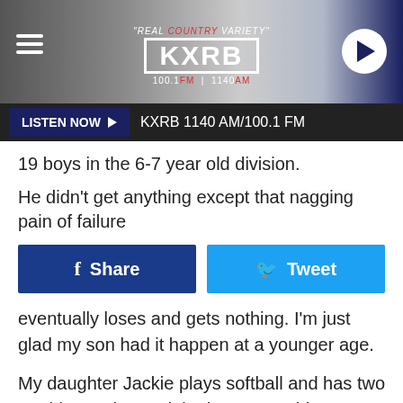[Figure (screenshot): KXRB radio station website header with logo, 'REAL COUNTRY VARIETY' tagline, 100.1 FM / 1140 AM frequency, hamburger menu icon, and play button]
LISTEN NOW ► KXRB 1140 AM/100.1 FM
19 boys in the 6-7 year old division.
He didn't get anything except that nagging pain of failure
[Figure (screenshot): Social sharing buttons: Facebook Share and Twitter Tweet]
eventually loses and gets nothing. I'm just glad my son had it happen at a younger age.
My daughter Jackie plays softball and has two trophies and a medal. The two trophies were for showing up. One of them holds an old ball and the other holds her necklaces. They are nothing more than souvenirs. She told me the medal means much more to her, even though it has no inscription of the year or team or league. She knows exactly what it is from